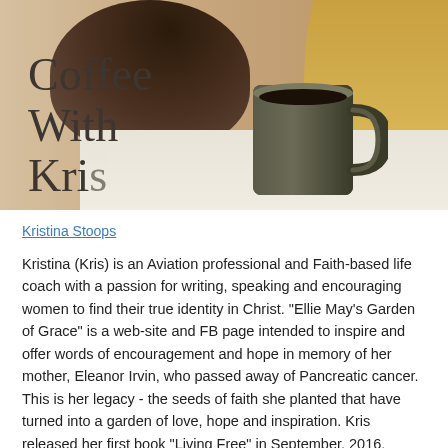[Figure (photo): Woman holding a large dark ceramic coffee mug, with overlaid text 'Coffee With Kris' in serif font]
Kristina Stoops
Kristina (Kris) is an Aviation professional and Faith-based life coach with a passion for writing, speaking and encouraging women to find their true identity in Christ. "Ellie May's Garden of Grace" is a web-site and FB page intended to inspire and offer words of encouragement and hope in memory of her mother, Eleanor Irvin, who passed away of Pancreatic cancer. This is her legacy - the seeds of faith she planted that have turned into a garden of love, hope and inspiration. Kris released her first book "Living Free" in September, 2016. Started "Coffee with Kris" video testimony series on YouTube in January, 2017. Kris also enjoys speaking engagements where she has the opportunity to share, love and inspire